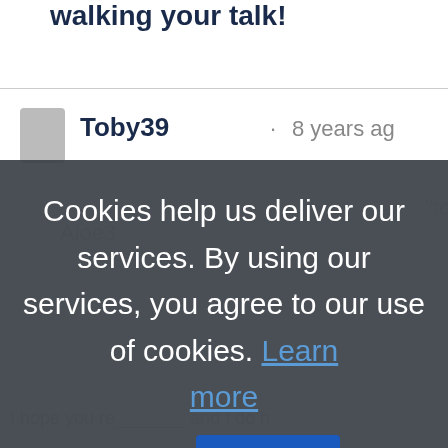[Figure (screenshot): Partial screenshot of a webpage showing a comment section with username 'Toby39' and '8 years ago', partially obscured by a cookie consent overlay dialog.]
Cookies help us deliver our services. By using our services, you agree to our use of cookies. Learn more
OK